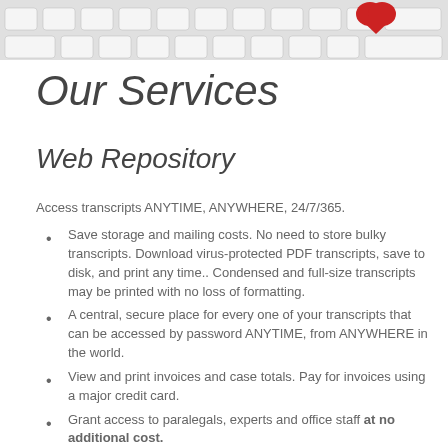[Figure (photo): Close-up photograph of a keyboard with a red heart or object on it]
Our Services
Web Repository
Access transcripts ANYTIME, ANYWHERE, 24/7/365.
Save storage and mailing costs. No need to store bulky transcripts. Download virus-protected PDF transcripts, save to disk, and print any time.. Condensed and full-size transcripts may be printed with no loss of formatting.
A central, secure place for every one of your transcripts that can be accessed by password ANYTIME, from ANYWHERE in the world.
View and print invoices and case totals. Pay for invoices using a major credit card.
Grant access to paralegals, experts and office staff at no additional cost.
Order products and schedule new proceedings.